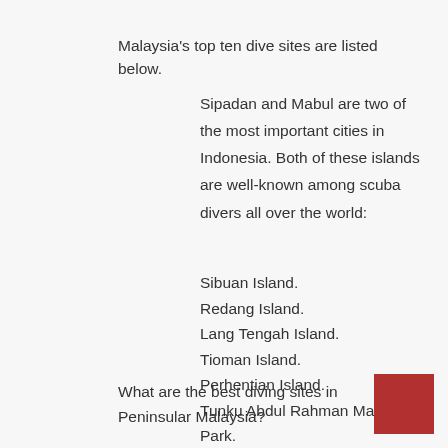Malaysia's top ten dive sites are listed below.
Sipadan and Mabul are two of the most important cities in Indonesia. Both of these islands are well-known among scuba divers all over the world:
Sibuan Island.
Redang Island.
Lang Tengah Island.
Tioman Island.
Perhentian Island.
Tunku Abdul Rahman Marine Park.
What are the best diving sites in Peninsular Malaysia?